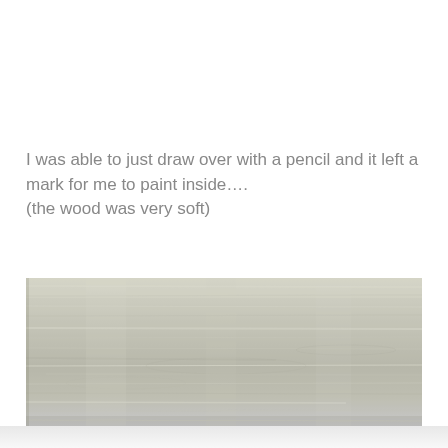I was able to just draw over with a pencil and it left a mark for me to paint inside….
(the wood was very soft)
[Figure (photo): A close-up photograph of light grey/whitewashed wood grain surface showing horizontal wood grain patterns with subtle variations in tone.]